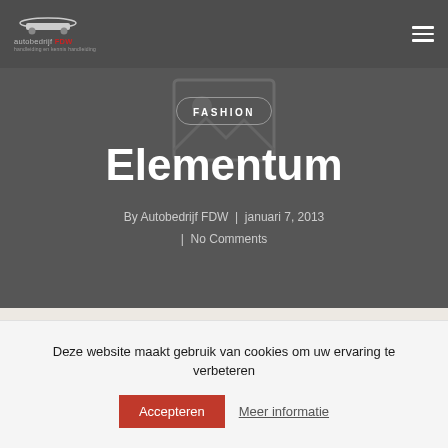autobedrijf FDW
[Figure (screenshot): Hero banner with dark grey background showing placeholder image icon, FASHION badge/pill, title 'Elementum', author and date metadata]
FASHION
Elementum
By Autobedrijf FDW | januari 7, 2013 | No Comments
Deze website maakt gebruik van cookies om uw ervaring te verbeteren
Accepteren
Meer informatie